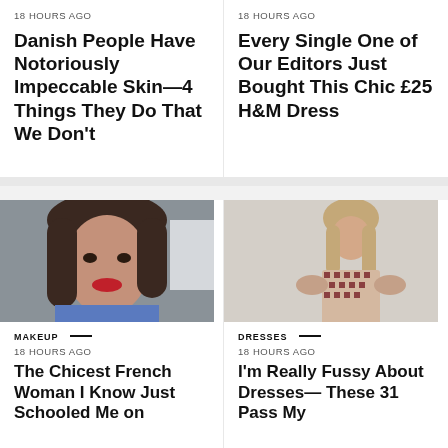18 HOURS AGO
Danish People Have Notoriously Impeccable Skin—4 Things They Do That We Don't
18 HOURS AGO
Every Single One of Our Editors Just Bought This Chic £25 H&M Dress
[Figure (photo): Woman with dark hair, red lipstick, blue sweater, selfie-style portrait]
MAKEUP — 18 HOURS AGO
The Chicest French Woman I Know Just Schooled Me on
[Figure (photo): Woman in patterned short-sleeve dress with ruffled sleeves, standing against white background]
DRESSES — 18 HOURS AGO
I'm Really Fussy About Dresses— These 31 Pass My